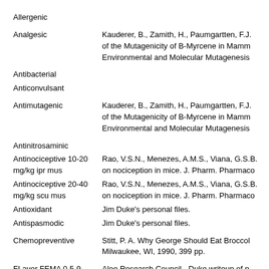Allergenic
Analgesic	Kauderer, B., Zamith, H., Paumgartten, F.J. of the Mutagenicity of B-Myrcene in Mamm Environmental and Molecular Mutagenesis
Antibacterial
Anticonvulsant
Antimutagenic	Kauderer, B., Zamith, H., Paumgartten, F.J. of the Mutagenicity of B-Myrcene in Mamm Environmental and Molecular Mutagenesis
Antinitrosaminic
Antinociceptive 10-20 mg/kg ipr mus	Rao, V.S.N., Menezes, A.M.S., Viana, G.S.B. on nociception in mice. J. Pharm. Pharmaco
Antinociceptive 20-40 mg/kg scu mus	Rao, V.S.N., Menezes, A.M.S., Viana, G.S.B. on nociception in mice. J. Pharm. Pharmaco
Antioxidant	Jim Duke's personal files.
Antispasmodic	Jim Duke's personal files.
Chemopreventive	Stitt, P. A. Why George Should Eat Broccol Milwaukee, WI, 1990, 399 pp.
FLavor FEMA 0.5-9	Aloe Research Council - Duke writeup of n Coats and draft by Henry
Fungicide	Keeler, R.F. and Tu, A.T. eds. 1991. Toxicol Compounds. (Handbook of Natural Toxins)